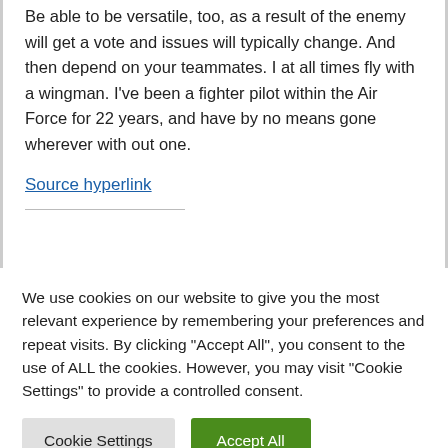Be able to be versatile, too, as a result of the enemy will get a vote and issues will typically change. And then depend on your teammates. I at all times fly with a wingman. I've been a fighter pilot within the Air Force for 22 years, and have by no means gone wherever with out one.
Source hyperlink
We use cookies on our website to give you the most relevant experience by remembering your preferences and repeat visits. By clicking "Accept All", you consent to the use of ALL the cookies. However, you may visit "Cookie Settings" to provide a controlled consent.